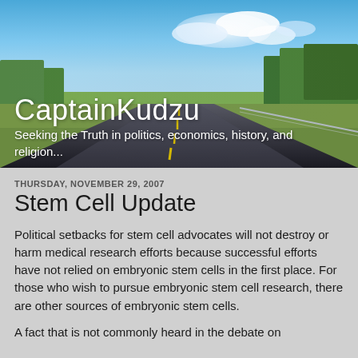[Figure (photo): Header banner photo of a road stretching into the distance with blue sky, white clouds, and green trees on both sides. Yellow center line visible on dark asphalt.]
CaptainKudzu
Seeking the Truth in politics, economics, history, and religion...
THURSDAY, NOVEMBER 29, 2007
Stem Cell Update
Political setbacks for stem cell advocates will not destroy or harm medical research efforts because successful efforts have not relied on embryonic stem cells in the first place. For those who wish to pursue embryonic stem cell research, there are other sources of embryonic stem cells.
A fact that is not commonly heard in the debate on